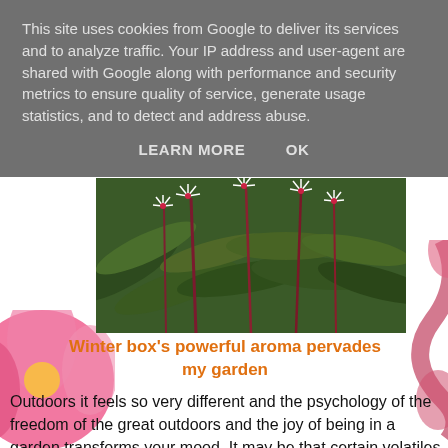This site uses cookies from Google to deliver its services and to analyze traffic. Your IP address and user-agent are shared with Google along with performance and security metrics to ensure quality of service, generate usage statistics, and to detect and address abuse.
LEARN MORE    OK
[Figure (photo): Close-up photograph of winter box shrub with small white star-shaped flowers and dark green elongated leaves with reddish stems]
Winter box's powerful aroma pervades my garden
Outdoors it feels so very different and the psychology of the freedom of the great outdoors and the joy of being in a garden transforms your mood. It may be that certain volatiles from the soil and vegetation are physically beneficial and outside aromas make you